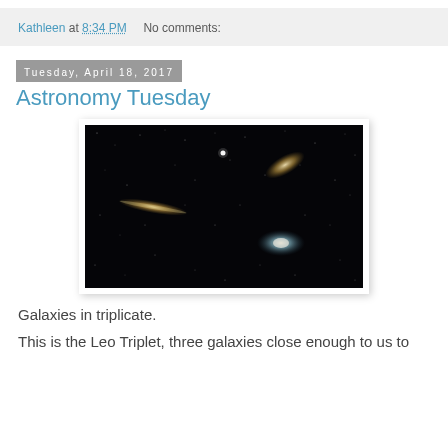Kathleen at 8:34 PM   No comments:
Tuesday, April 18, 2017
Astronomy Tuesday
[Figure (photo): Astronomy photo showing the Leo Triplet — three galaxies visible against a dark starfield. A tall, vertical galaxy is on the left, a tilted elliptical galaxy is upper right, and a face-on spiral galaxy is lower right.]
Galaxies in triplicate.
This is the Leo Triplet, three galaxies close enough to us to